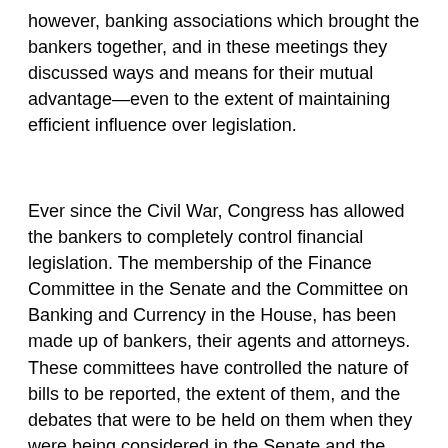however, banking associations which brought the bankers together, and in these meetings they discussed ways and means for their mutual advantage—even to the extent of maintaining efficient influence over legislation.
Ever since the Civil War, Congress has allowed the bankers to completely control financial legislation. The membership of the Finance Committee in the Senate and the Committee on Banking and Currency in the House, has been made up of bankers, their agents and attorneys. These committees have controlled the nature of bills to be reported, the extent of them, and the debates that were to be held on them when they were being considered in the Senate and the House. No one, not on the Committee, is recognized under the practice of the House as long as a member on the committee wishes recognition, and one of them is sure to hold the floor unless someone favorable to the committee has been arranged for. In this way the committees have been able to do as they pleased.